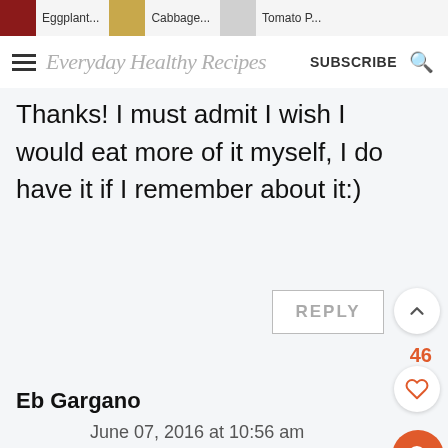Eggplant... Cabbage... Tomato P...
Everyday Healthy Recipes SUBSCRIBE
Thanks! I must admit I wish I would eat more of it myself, I do have it if I remember about it:)
REPLY
46
Eb Gargano
June 07, 2016 at 10:56 am
I love the sound of these - they look so cute and I bet they taste amazing!